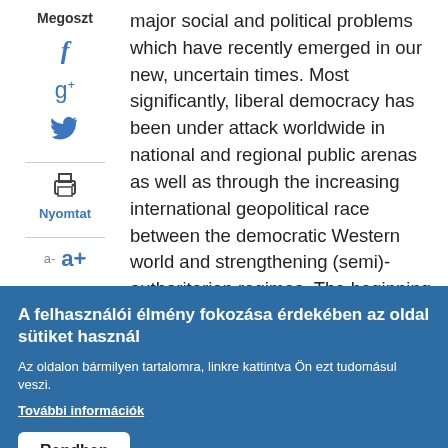Megoszt
major social and political problems which have recently emerged in our new, uncertain times. Most significantly, liberal democracy has been under attack worldwide in national and regional public arenas as well as through the increasing international geopolitical race between the democratic Western world and strengthening (semi)-authoritarian regimes. The beginning of the twenties of the 21st century has brought up new risks and threats to the surface: environmental emergency, an unknown pandemic, migration, growing economic inequalities, the contradictions of a post-truth era, ideological/cultural as well as
Nyomtat
a-  a+
A felhasználói élmény fokozása érdekében az oldal sütiket használ
Az oldalon bármilyen tartalomra, linkre kattintva Ön ezt tudomásul veszi.
További információk
Rendben